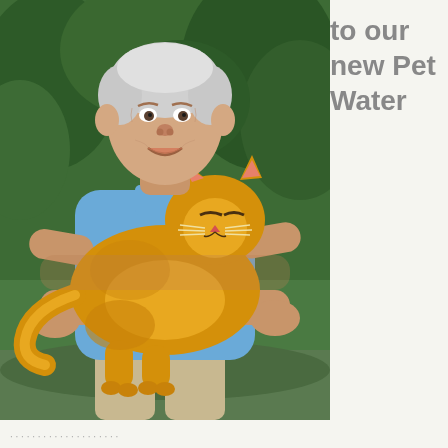[Figure (photo): An elderly man with white hair wearing a blue t-shirt, holding a very large orange/ginger long-haired cat in his arms. The background shows green trees and foliage. The man is smiling and the cat appears relaxed.]
to our new Pet Water